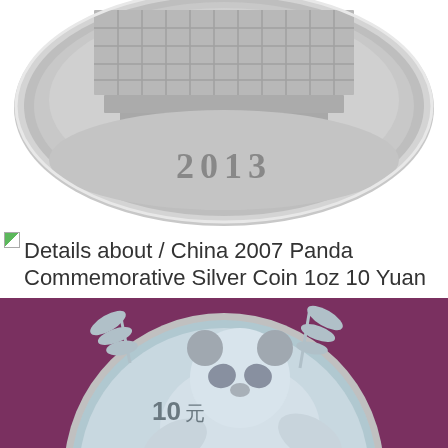[Figure (photo): Close-up photo of the obverse of a 2013 Chinese Panda silver coin showing a building facade (Hall of the People) in relief with the year '2013' engraved at the bottom, silver metallic coin on white background]
Details about / China 2007 Panda Commemorative Silver Coin 1oz 10 Yuan
[Figure (photo): Close-up photo of the reverse of a Chinese Panda silver coin on a purple velvet background, showing a panda bear among bamboo in relief with '10元' denomination inscription]